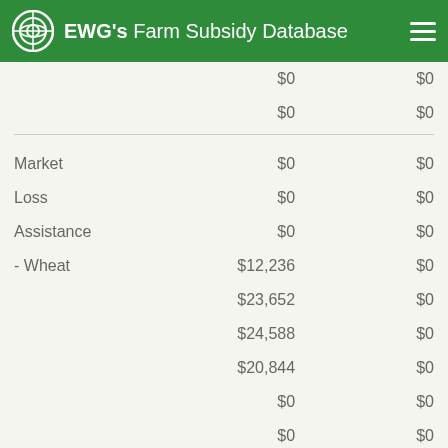EWG's Farm Subsidy Database
|  | Col1 | Col2 |
| --- | --- | --- |
|  | $0 | $0 |
|  | $0 | $0 |
| Market | $0 | $0 |
| Loss | $0 | $0 |
| Assistance | $0 | $0 |
| - Wheat | $12,236 | $0 |
|  | $23,652 | $0 |
|  | $24,588 | $0 |
|  | $20,844 | $0 |
|  | $0 | $0 |
|  | $0 | $0 |
| Deficiency | $11,702 | $0 |
| Payments | $-17,280 | $0 |
|  | $-9,206 | $0 |
|  | $0 | $0 |